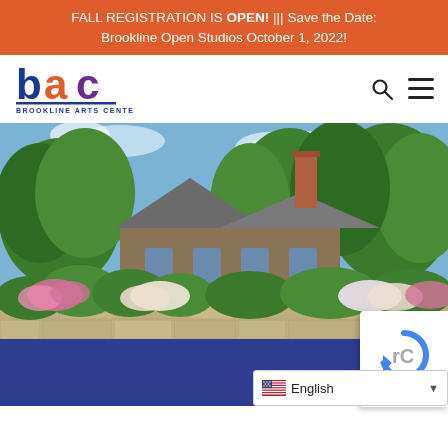FALL REGISTRATION IS OPEN! ||| Save the Date: Brookline Open Studios October 1, 2022!
[Figure (logo): Brookline Arts Center logo - stylized 'bac' letters with blue 'b', orange 'a', purple 'c' and text BROOKLINE ARTS CENTER below]
[Figure (photo): Exterior photo of the Brookline Arts Center building surrounded by lush green trees and flowering pink and white hydrangea bushes in front of a stone wall, with blue sky and clouds]
[Figure (screenshot): reCAPTCHA widget and language selector showing English with US flag and dropdown arrow]